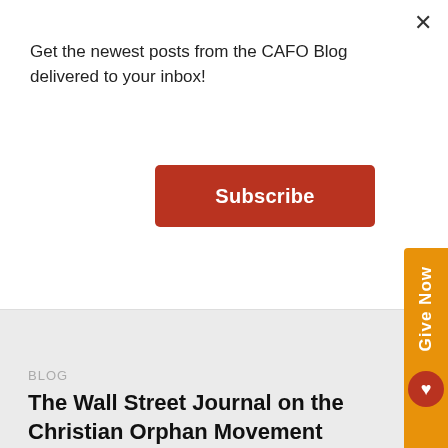Get the newest posts from the CAFO Blog delivered to your inbox!
Subscribe
[Figure (logo): CAFO logo in large light gray italic serif text]
BLOG
The Wall Street Journal on the Christian Orphan Movement
September 27, 2010